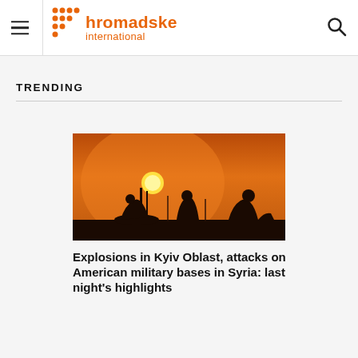hromadske international
TRENDING
[Figure (photo): Silhouettes of soldiers working at sunset with warm orange sky background]
Explosions in Kyiv Oblast, attacks on American military bases in Syria: last night's highlights